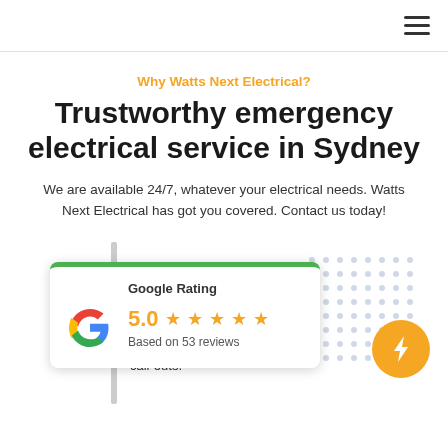Navigation bar with hamburger menu
Why Watts Next Electrical?
Trustworthy emergency electrical service in Sydney
We are available 24/7, whatever your electrical needs. Watts Next Electrical has got you covered. Contact us today!
[Figure (infographic): Google Rating card showing 5.0 stars based on 53 reviews with Google G logo and green top border]
cy Services
Attend to after hours emergency call-outs.